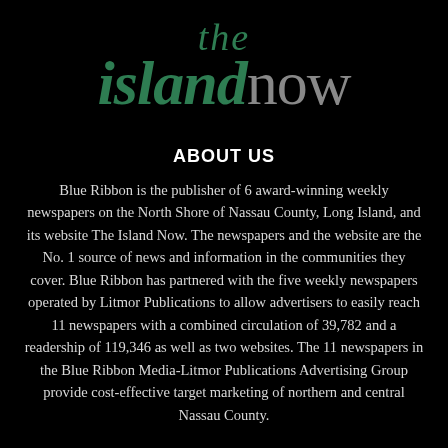[Figure (logo): The Island Now logo — 'the' in italic green above 'island' in italic green bold and 'now' in gray, on a black background]
ABOUT US
Blue Ribbon is the publisher of 6 award-winning weekly newspapers on the North Shore of Nassau County, Long Island, and its website The Island Now. The newspapers and the website are the No. 1 source of news and information in the communities they cover. Blue Ribbon has partnered with the five weekly newspapers operated by Litmor Publications to allow advertisers to easily reach 11 newspapers with a combined circulation of 39,782 and a readership of 119,346 as well as two websites. The 11 newspapers in the Blue Ribbon Media-Litmor Publications Advertising Group provide cost-effective target marketing of northern and central Nassau County.